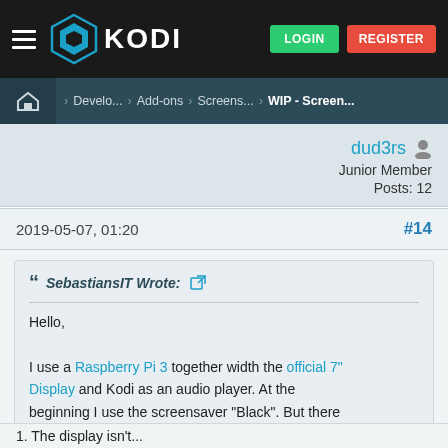KODI | LOGIN | REGISTER
Home > Develo... > Add-ons > Screens... > WIP - Screen...
dud3rs
Junior Member
Posts: 12
2019-05-07, 01:20  #14
SebastiansIT Wrote:
Hello,

I use a Raspberry Pi 3 together width the official 7" Display and Kodi as an audio player. At the beginning I use the screensaver "Black". But there are two problems width this:
1. The display isn't...